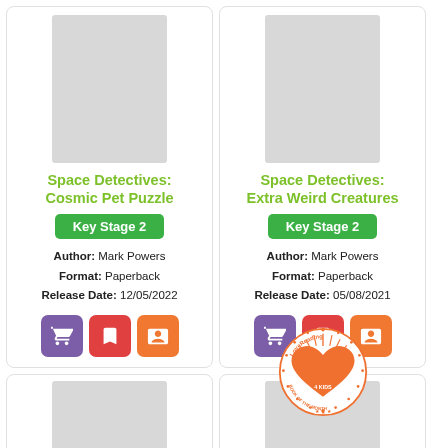[Figure (illustration): Book cover placeholder grey rectangle for Space Detectives: Cosmic Pet Puzzle]
Space Detectives: Cosmic Pet Puzzle
Key Stage 2
Author: Mark Powers
Format: Paperback
Release Date: 12/05/2022
[Figure (illustration): Action buttons: cart, bookmark, book icons]
[Figure (illustration): Book cover placeholder grey rectangle for Space Detectives: Extra Weird Creatures]
Space Detectives: Extra Weird Creatures
Key Stage 2
Author: Mark Powers
Format: Paperback
Release Date: 05/08/2021
[Figure (illustration): Action buttons: cart, bookmark, book icons]
[Figure (illustration): Book cover placeholder grey rectangle bottom left]
[Figure (logo): LoveReading 4 Kids Book of the Month badge/seal in orange]
[Figure (illustration): Book cover placeholder grey rectangle bottom right]